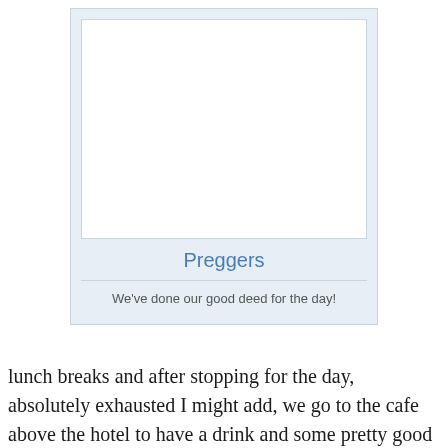[Figure (photo): A polaroid-style image frame with a white photo area (blank/empty), a blue title 'Preggers', a divider line, and caption text 'We've done our good deed for the day!']
We've done our good deed for the day!
lunch breaks and after stopping for the day, absolutely exhausted I might add, we go to the cafe above the hotel to have a drink and some pretty good food. This is where everyone goes apparently... pretty good food, but something else happened to me there. On my way out, paying the bill,